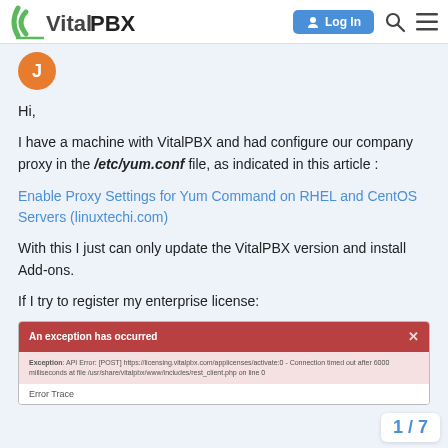VitalPBX — Log In
Hi,
I have a machine with VitalPBX and had configure our company proxy in the /etc/yum.conf file, as indicated in this article :
Enable Proxy Settings for Yum Command on RHEL and CentOS Servers (linuxtechi.com)
With this I just can only update the VitalPBX version and install Add-ons.
If I try to register my enterprise license:
[Figure (screenshot): Error dialog showing 'An exception has occurred' with a red header, an exception message about API Error [POST] https://licensing.vitalpbx.com/applicenses/activate:0 - Connection timed out after 6000 milliseconds at file /usr/share/vitalpbx/www/includes/rest_client.php on line 0, and an Error Trace section.]
1 / 7